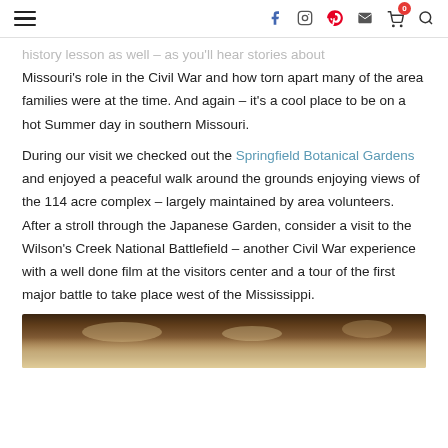≡  [social icons: facebook, instagram, pinterest, email, cart(0), search]
history lesson as well – as you'll hear stories about Missouri's role in the Civil War and how torn apart many of the area families were at the time. And again – it's a cool place to be on a hot Summer day in southern Missouri.
During our visit we checked out the Springfield Botanical Gardens and enjoyed a peaceful walk around the grounds enjoying views of the 114 acre complex – largely maintained by area volunteers. After a stroll through the Japanese Garden, consider a visit to the Wilson's Creek National Battlefield – another Civil War experience with a well done film at the visitors center and a tour of the first major battle to take place west of the Mississippi.
[Figure (photo): Bottom portion of a food/travel photo, showing what appears to be a dish with light-colored food items on a dark background.]